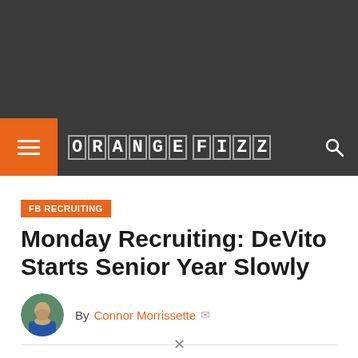[Figure (logo): Orange Fizz website logo with letter tiles on dark navigation bar]
FB RECRUITING
Monday Recruiting: DeVito Starts Senior Year Slowly
By Connor Morrissette